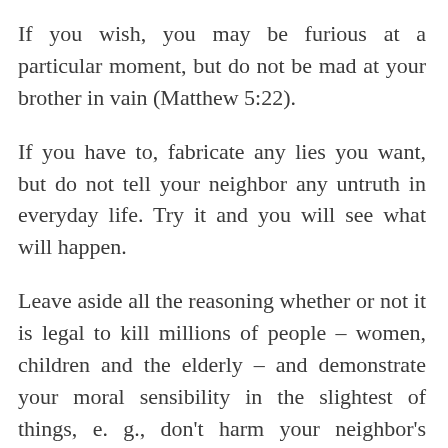If you wish, you may be furious at a particular moment, but do not be mad at your brother in vain (Matthew 5:22).
If you have to, fabricate any lies you want, but do not tell your neighbor any untruth in everyday life. Try it and you will see what will happen.
Leave aside all the reasoning whether or not it is legal to kill millions of people – women, children and the elderly – and demonstrate your moral sensibility in the slightest of things, e. g., don't harm your neighbor's personality with a word, a hint, or a gesture. After all, goodness means that you must deter yourself from doing evil, too. You can do a lot of things easily, discreetly and